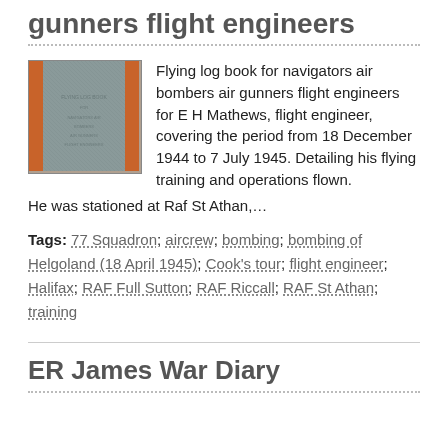gunners flight engineers
[Figure (photo): Photo of a flying log book cover, grey fabric with orange spine]
Flying log book for navigators air bombers air gunners flight engineers for E H Mathews, flight engineer, covering the period from 18 December 1944 to 7 July 1945. Detailing his flying training and operations flown. He was stationed at Raf St Athan,…
Tags: 77 Squadron; aircrew; bombing; bombing of Helgoland (18 April 1945); Cook's tour; flight engineer; Halifax; RAF Full Sutton; RAF Riccall; RAF St Athan; training
ER James War Diary